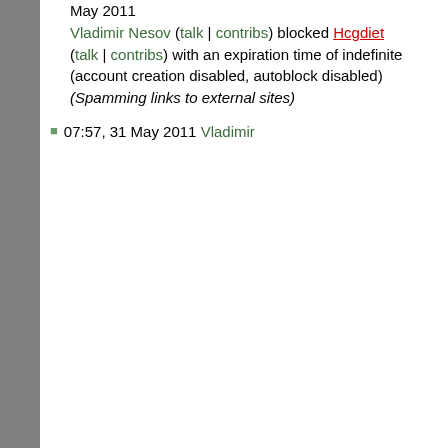May 2011 Vladimir Nesov (talk | contribs) blocked Hcgdiet (talk | contribs) with an expiration time of indefinite (account creation disabled, autoblock disabled) (Spamming links to external sites)
07:57, 31 May 2011 Vladimir